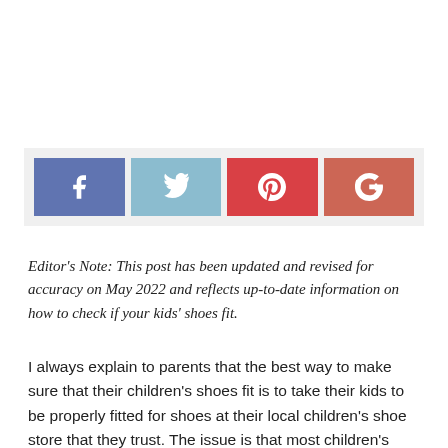[Figure (infographic): Social share buttons: Facebook (blue-purple), Twitter (light blue), Pinterest (red), Google+ (salmon/orange-red)]
Editor's Note: This post has been updated and revised for accuracy on May 2022 and reflects up-to-date information on how to check if your kids' shoes fit.
I always explain to parents that the best way to make sure that their children's shoes fit is to take their kids to be properly fitted for shoes at their local children's shoe store that they trust. The issue is that most children's shoe stores have been closing down, and